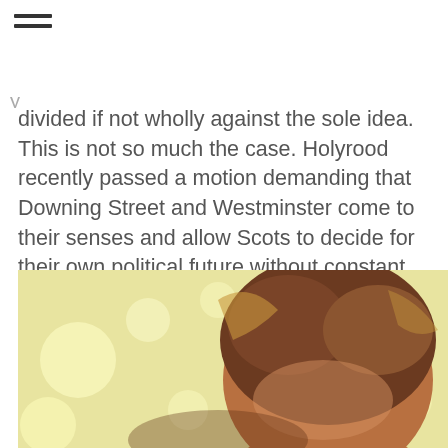divided if not wholly against the sole idea. This is not so much the case. Holyrood recently passed a motion demanding that Downing Street and Westminster come to their senses and allow Scots to decide for their own political future without constant scrutiny from high-handed and indifferent Eton and Cambridge alumni.
[Figure (photo): Close-up photograph of a person with brown hair against a yellow/cream blurred background with bokeh light effects.]